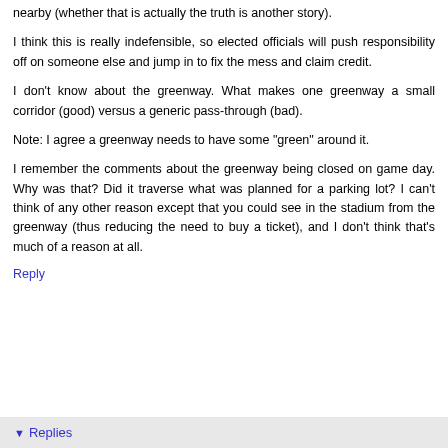nearby (whether that is actually the truth is another story).
I think this is really indefensible, so elected officials will push responsibility off on someone else and jump in to fix the mess and claim credit.
I don't know about the greenway. What makes one greenway a small corridor (good) versus a generic pass-through (bad).
Note: I agree a greenway needs to have some "green" around it.
I remember the comments about the greenway being closed on game day. Why was that? Did it traverse what was planned for a parking lot? I can't think of any other reason except that you could see in the stadium from the greenway (thus reducing the need to buy a ticket), and I don't think that's much of a reason at all.
Reply
Replies